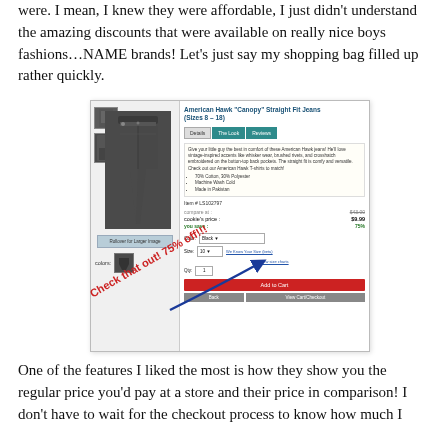were. I mean, I knew they were affordable, I just didn't understand the amazing discounts that were available on really nice boys fashions…NAME brands! Let's just say my shopping bag filled up rather quickly.
[Figure (screenshot): Screenshot of an online store product page showing American Hawk 'Canopy' Straight Fit Jeans (Sizes 8-18) with product image, tabs (Details, The Look, Reviews), description, pricing (compare at $43.00, cookie's price $9.99, you save 75%), color and size selectors, Add to Cart button. Handwritten annotation overlaid reading 'Check that out! 75% off!!!' with an arrow pointing to the 75% savings.]
One of the features I liked the most is how they show you the regular price you'd pay at a store and their price in comparison! I don't have to wait for the checkout process to know how much I